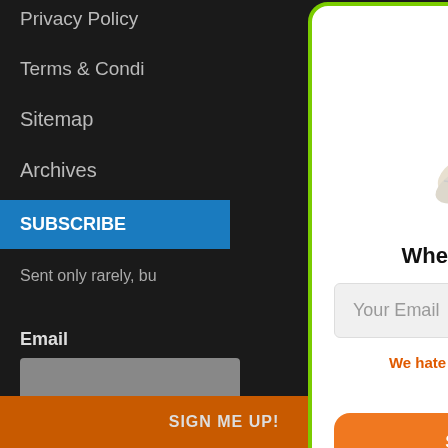Privacy Policy
Terms & Conditions
Sitemap
Archives
SUBSCRIBE
Sent only rarely, bu
Email
We respect your privacy and address.
SIGN ME UP!
~Jake
[Figure (illustration): Flying money bag emoji: stack of dollar bills with wings]
Where should I send it?
Your Email
We hate spam too!  We'll only use this to send your insider info.
SEND IT TO ME!